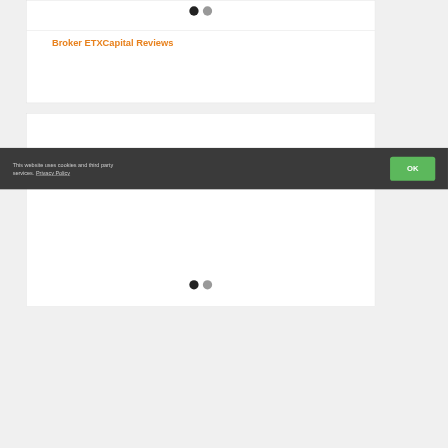[Figure (other): Carousel dots indicator (black and gray circles) at top of first card]
Broker ETXCapital Reviews
[Figure (other): Empty white card section with carousel dots indicator (black and gray circles) at bottom]
This website uses cookies and third party services. Privacy Policy